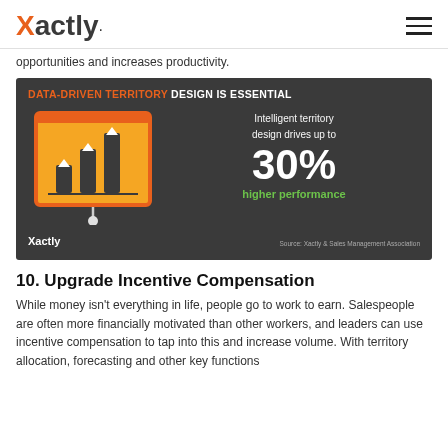Xactly
opportunities and increases productivity.
[Figure (infographic): Dark grey infographic panel. Title: 'DATA-DRIVEN TERRITORY DESIGN IS ESSENTIAL'. Left side: illustration of a presentation board (orange/yellow background with upward-trending bar chart arrows). Right side text: 'Intelligent territory design drives up to 30% higher performance'. Footer: Xactly logo left, 'Source: Xactly & Sales Management Association' right.]
10. Upgrade Incentive Compensation
While money isn't everything in life, people go to work to earn. Salespeople are often more financially motivated than other workers, and leaders can use incentive compensation to tap into this and increase volume. With territory allocation, forecasting and other key functions